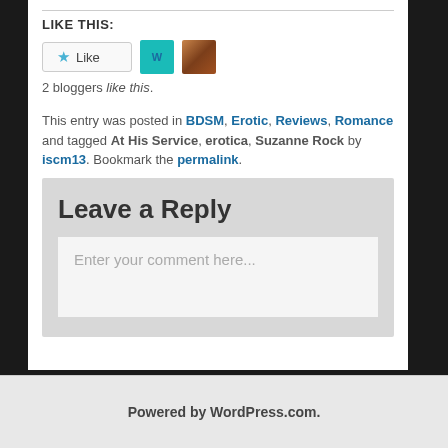LIKE THIS:
[Figure (screenshot): Like button with star icon and two blogger avatars]
2 bloggers like this.
This entry was posted in BDSM, Erotic, Reviews, Romance and tagged At His Service, erotica, Suzanne Rock by iscm13. Bookmark the permalink.
Leave a Reply
Enter your comment here...
Powered by WordPress.com.